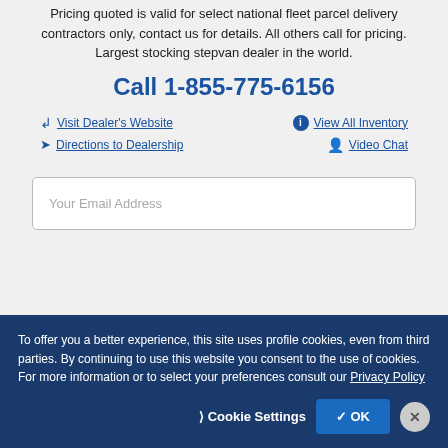Pricing quoted is valid for select national fleet parcel delivery contractors only, contact us for details. All others call for pricing. Largest stocking stepvan dealer in the world.
Call 1-855-775-6156
Visit Dealer's Website
View All Inventory
Directions to Dealership
Video Chat
Your Email Address
To offer you a better experience, this site uses profile cookies, even from third parties. By continuing to use this website you consent to the use of cookies. For more information or to select your preferences consult our Privacy Policy
Cookie Settings
OK